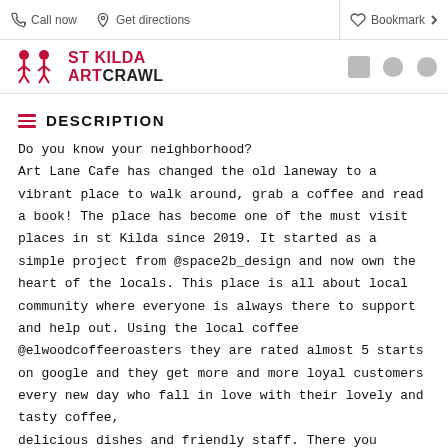Call now | Get directions | Bookmark
[Figure (logo): St Kilda Art Crawl logo with figure icon]
DESCRIPTION
Do you know your neighborhood? Art Lane Cafe has changed the old laneway to a vibrant place to walk around, grab a coffee and read a book! The place has become one of the must visit places in st Kilda since 2019. It started as a simple project from @space2b_design and now own the heart of the locals. This place is all about local community where everyone is always there to support and help out. Using the local coffee @elwoodcoffeeroasters they are rated almost 5 starts on google and they get more and more loyal customers every new day who fall in love with their lovely and tasty coffee, delicious dishes and friendly staff. There you